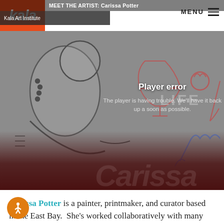MEET THE ARTIST: Carissa Potter
Kala Art Institute
[Figure (screenshot): Video player showing artwork background with illustrated figures in black and white and red/blue decorative elements. Player shows an error message: 'Player error — The player is having trouble. We'll have it back up as soon as possible.' Dark red gradient overlay at bottom with watermark text 'Carissa' visible. Kala logo top left in orange/red.]
Carissa Potter is a painter, printmaker, and curator based in the East Bay.  She's worked collaboratively with many artists on